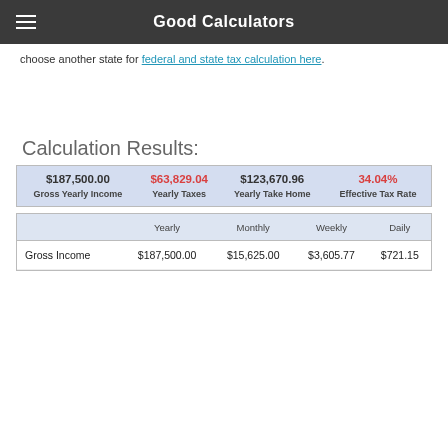Good Calculators
choose another state for federal and state tax calculation here.
Calculation Results:
| $187,500.00 | $63,829.04 | $123,670.96 | 34.04% |
| --- | --- | --- | --- |
| Gross Yearly Income | Yearly Taxes | Yearly Take Home | Effective Tax Rate |
|  | Yearly | Monthly | Weekly | Daily |
| --- | --- | --- | --- | --- |
| Gross Income | $187,500.00 | $15,625.00 | $3,605.77 | $721.15 |